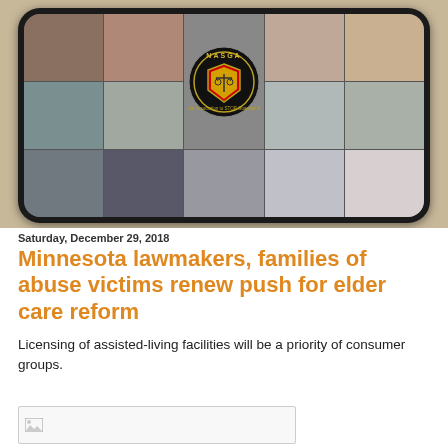[Figure (photo): A smartphone showing a photo collage with a NASGA (National Association to STOP Guardian Abuse) logo in the center, surrounded by photos of elderly people and family members.]
Saturday, December 29, 2018
Minnesota lawmakers, families of abuse victims renew push for elder care reform
Licensing of assisted-living facilities will be a priority of consumer groups.
[Figure (photo): Partially visible image at the bottom of the page]